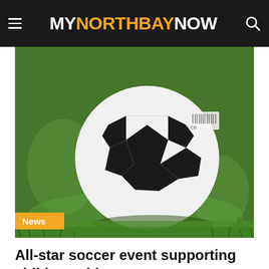MY NORTH BAY NOW
[Figure (photo): Close-up photo of a black and white soccer ball resting on green grass, with blurred green background. A 'News' badge is overlaid in the bottom-left corner.]
All-star soccer event supporting children with cancer